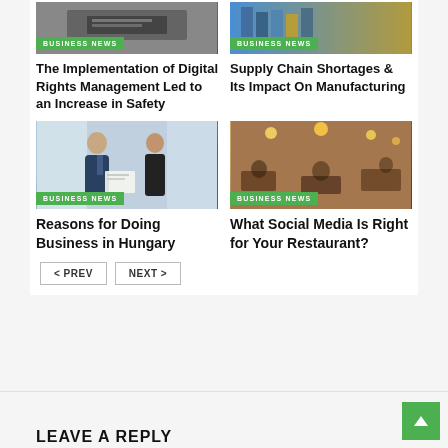[Figure (photo): Business news thumbnail - laptop on desk]
BUSINESS NEWS
The Implementation of Digital Rights Management Led to an Increase in Safety
[Figure (photo): Business news thumbnail - colorful books on shelf]
BUSINESS NEWS
Supply Chain Shortages & Its Impact On Manufacturing
[Figure (photo): Two business professionals reviewing documents]
BUSINESS NEWS
Reasons for Doing Business in Hungary
[Figure (photo): Blurred restaurant interior with warm lighting]
BUSINESS NEWS
What Social Media Is Right for Your Restaurant?
< PREV   NEXT >